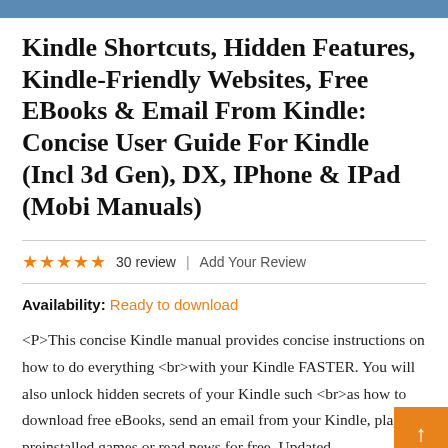Kindle Shortcuts, Hidden Features, Kindle-Friendly Websites, Free EBooks & Email From Kindle: Concise User Guide For Kindle (Incl 3d Gen), DX, IPhone & IPad (Mobi Manuals)
30 review  |  Add Your Review
Availability: Ready to download
<P>This concise Kindle manual provides concise instructions on how to do everything <br>with your Kindle FASTER. You will also unlock hidden secrets of your Kindle such <br>as how to download free eBooks, send an email from your Kindle, play preinstalled games or read news for free. Updated